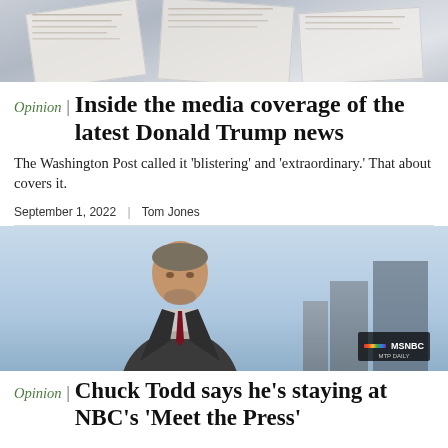[Figure (photo): Background image of papers/documents spread out on a surface]
Opinion | Inside the media coverage of the latest Donald Trump news
The Washington Post called it ‘blistering’ and ‘extraordinary.’ That about covers it.
September 1, 2022  |  Tom Jones
[Figure (photo): MSNBC news anchor (Chuck Todd) on set with city skyline background]
Opinion | Chuck Todd says he’s staying at NBC’s ‘Meet the Press’